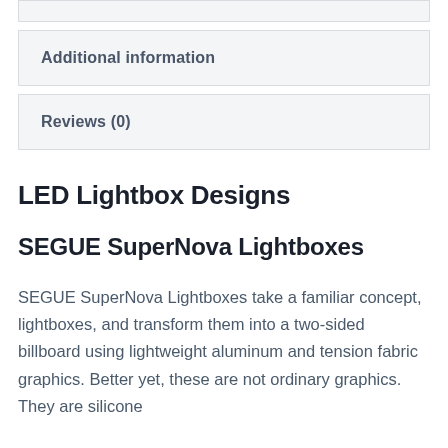Additional information
Reviews (0)
LED Lightbox Designs
SEGUE SuperNova Lightboxes
SEGUE SuperNova Lightboxes take a familiar concept, lightboxes, and transform them into a two-sided billboard using lightweight aluminum and tension fabric graphics. Better yet, these are not ordinary graphics. They are silicone